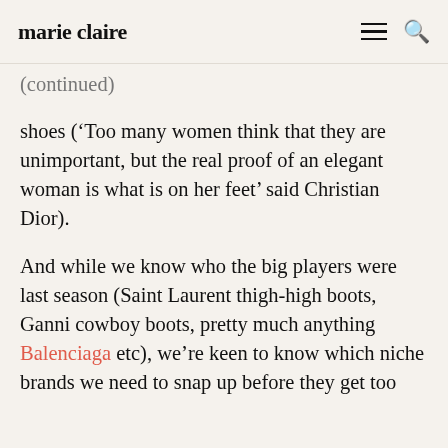marie claire
(continued) shoes (‘Too many women think that they are unimportant, but the real proof of an elegant woman is what is on her feet’ said Christian Dior). And while we know who the big players were last season (Saint Laurent thigh-high boots, Ganni cowboy boots, pretty much anything Balenciaga etc), we’re keen to know which niche brands we need to snap up before they get too